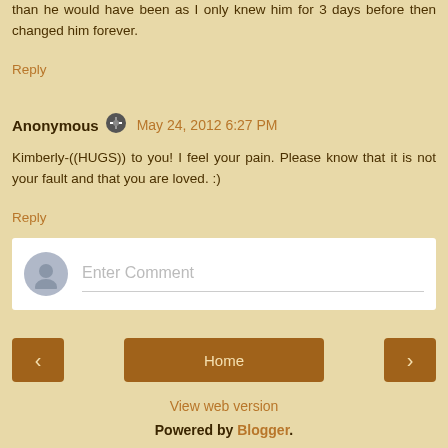than he would have been as I only knew him for 3 days before then changed him forever.
Reply
Anonymous  May 24, 2012 6:27 PM
Kimberly-((HUGS)) to you! I feel your pain. Please know that it is not your fault and that you are loved. :)
Reply
[Figure (screenshot): Comment input box with user avatar placeholder and Enter Comment placeholder text]
[Figure (screenshot): Navigation bar with left arrow, Home button, and right arrow buttons]
View web version
Powered by Blogger.